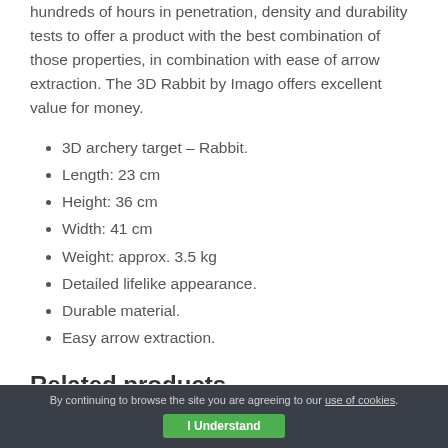hundreds of hours in penetration, density and durability tests to offer a product with the best combination of those properties, in combination with ease of arrow extraction. The 3D Rabbit by Imago offers excellent value for money.
3D archery target – Rabbit.
Length: 23 cm
Height: 36 cm
Width: 41 cm
Weight: approx. 3.5 kg
Detailed lifelike appearance.
Durable material.
Easy arrow extraction.
Related products
By continuing to browse the site you are agreeing to our use of cookies. I Understand